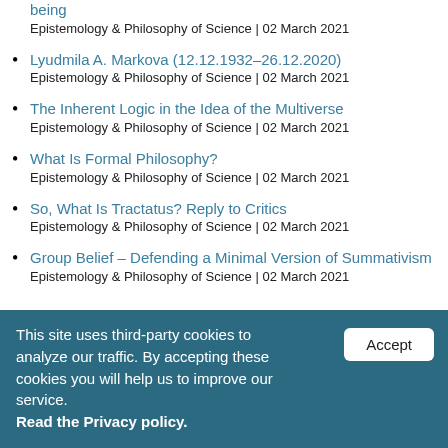being
Epistemology & Philosophy of Science | 02 March 2021
Lyudmila A. Markova (12.12.1932–26.12.2020)
Epistemology & Philosophy of Science | 02 March 2021
The Inherent Logic in the Idea of the Multiverse
Epistemology & Philosophy of Science | 02 March 2021
What Is Formal Philosophy?
Epistemology & Philosophy of Science | 02 March 2021
So, What Is Tractatus? Reply to Critics
Epistemology & Philosophy of Science | 02 March 2021
Group Belief – Defending a Minimal Version of Summativism
Epistemology & Philosophy of Science | 02 March 2021
This site uses third-party cookies to analyze our traffic. By accepting these cookies you will help us to improve our service. Read the Privacy policy.